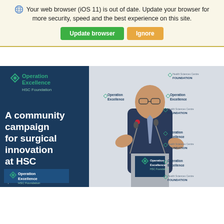🌐 Your web browser (iOS 11) is out of date. Update your browser for more security, speed and the best experience on this site.
Update browser | Ignore
[Figure (photo): A man in a dark suit with a red flower boutonniere speaking at a podium with microphones. Behind him is a step-and-repeat banner featuring 'Operation Excellence HSC Foundation' logos. The left side shows a vertical banner reading 'A community campaign for surgical innovation at HSC' with the Operation Excellence HSC Foundation logo and 'OperationExcellence.c' URL text.]